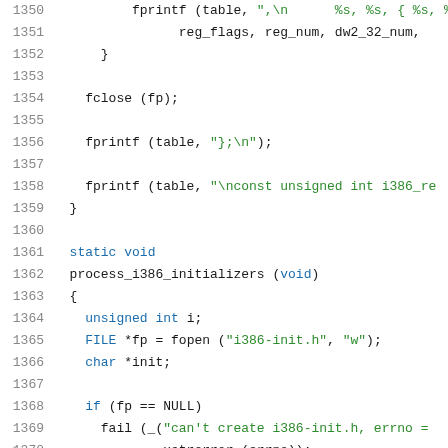Code listing lines 1350-1371, C source code showing functions including process_i386_initializers
1350: fprintf (table, ",\n      %s, %s, { %s, %s
1351:                 reg_flags, reg_num, dw2_32_num,
1352:       }
1353: (blank)
1354:     fclose (fp);
1355: (blank)
1356:     fprintf (table, "};
");
1357: (blank)
1358:     fprintf (table, "\nconst unsigned int i386_re
1359:   }
1360: (blank)
1361:   static void
1362:   process_i386_initializers (void)
1363:   {
1364:     unsigned int i;
1365:     FILE *fp = fopen ("i386-init.h", "w");
1366:     char *init;
1367: (blank)
1368:     if (fp == NULL)
1369:       fail (_("can't create i386-init.h, errno =
1370:               xstrerror (errno));
1371: (blank)